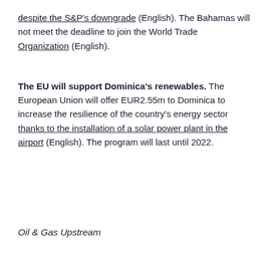despite the S&P's downgrade (English). The Bahamas will not meet the deadline to join the World Trade Organization (English).
The EU will support Dominica's renewables. The European Union will offer EUR2.55m to Dominica to increase the resilience of the country's energy sector thanks to the installation of a solar power plant in the airport (English). The program will last until 2022.
Oil & Gas Upstream